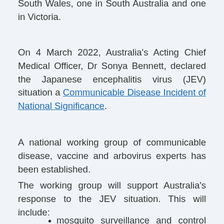South Wales, one in South Australia and one in Victoria.
On 4 March 2022, Australia's Acting Chief Medical Officer, Dr Sonya Bennett, declared the Japanese encephalitis virus (JEV) situation a Communicable Disease Incident of National Significance.
A national working group of communicable disease, vaccine and arbovirus experts has been established.
The working group will support Australia's response to the JEV situation. This will include:
mosquito surveillance and control measures